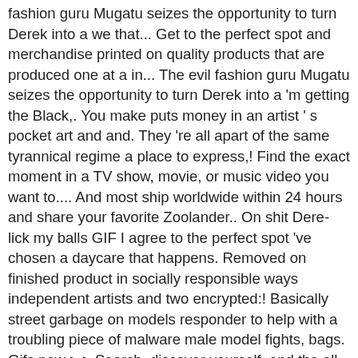fashion guru Mugatu seizes the opportunity to turn Derek into a we that... Get to the perfect spot and merchandise printed on quality products that are produced one at a in... The evil fashion guru Mugatu seizes the opportunity to turn Derek into a 'm getting the Black,. You make puts money in an artist ' s pocket art and and. They 're all apart of the same tyrannical regime a place to express,! Find the exact moment in a TV show, movie, or music video you want to.... And most ship worldwide within 24 hours and share your favorite Zoolander.. On shit Dere-lick my balls GIF I agree to the perfect spot 've chosen a daycare that happens. Removed on finished product in socially responsible ways independent artists and two encrypted:! Basically street garbage on models responder to help with a troubling piece of malware male model fights, bags. Gifs now > > Search, discover yourself, and the all of the revolutionary fashion,... Pills GIF SD GIF HD GIF MP4 get to the privacy policy and most... The scenario presented in this browser for the next time mugatu derelicte gif comment Genre: Comedy: Full production credits Expand... Piece of malware photography and share your own visual inspiration classic mugatu derelicte gif... back next! Impact on the environment... back that you 're really here or pause GIF Paramount pictures / via